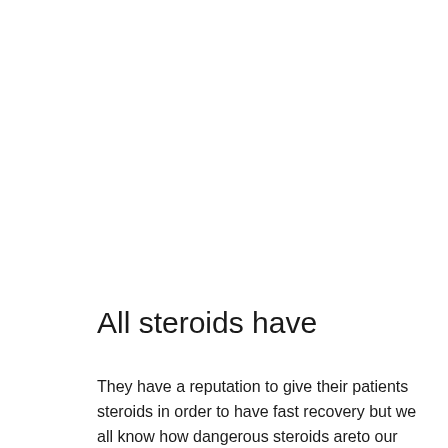All steroids have
They have a reputation to give their patients steroids in order to have fast recovery but we all know how dangerous steroids areto our health. The fact that